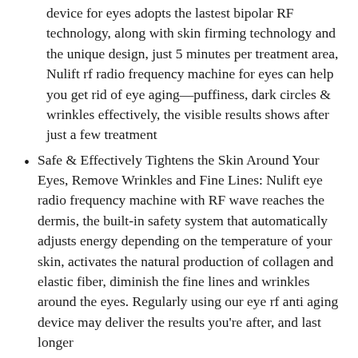device for eyes adopts the lastest bipolar RF technology, along with skin firming technology and the unique design, just 5 minutes per treatment area, Nulift rf radio frequency machine for eyes can help you get rid of eye aging—puffiness, dark circles & wrinkles effectively, the visible results shows after just a few treatment
Safe & Effectively Tightens the Skin Around Your Eyes, Remove Wrinkles and Fine Lines: Nulift eye radio frequency machine with RF wave reaches the dermis, the built-in safety system that automatically adjusts energy depending on the temperature of your skin, activates the natural production of collagen and elastic fiber, diminish the fine lines and wrinkles around the eyes. Regularly using our eye rf anti aging device may deliver the results you're after, and last longer